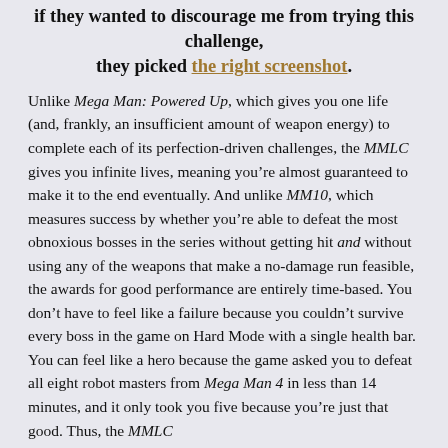if they wanted to discourage me from trying this challenge, they picked the right screenshot.
Unlike Mega Man: Powered Up, which gives you one life (and, frankly, an insufficient amount of weapon energy) to complete each of its perfection-driven challenges, the MMLC gives you infinite lives, meaning you’re almost guaranteed to make it to the end eventually. And unlike MM10, which measures success by whether you’re able to defeat the most obnoxious bosses in the series without getting hit and without using any of the weapons that make a no-damage run feasible, the awards for good performance are entirely time-based. You don’t have to feel like a failure because you couldn’t survive every boss in the game on Hard Mode with a single health bar. You can feel like a hero because the game asked you to defeat all eight robot masters from Mega Man 4 in less than 14 minutes, and it only took you five because you’re just that good. Thus, the MMLC